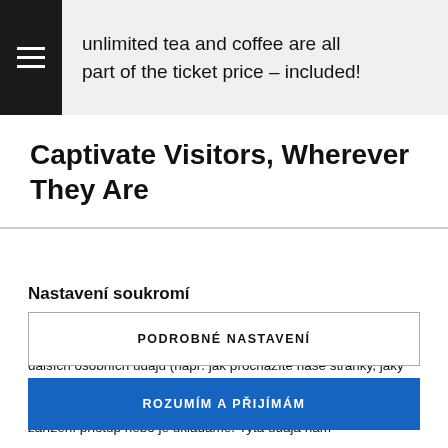unlimited tea and coffee are all part of the ticket price – included!
Captivate Visitors, Wherever They Are
Nastavení soukromí
Na těchto webových stránkách se používají soubory cookies a další síťové identifikátory, které mohou také sloužit ke zpracování dalších osobních údajů (např. jak procházíte naše stránky, jaký obsah Vás zajímá a také volby, které provedete pomocí tohoto okna). My a naši partneři máme k těmto údajům ve Vašem zařízení přístup nebo je ukládáme. Tyta údaja nám
PODROBNÉ NASTAVENÍ
ROZUMÍM A PŘIJÍMÁM